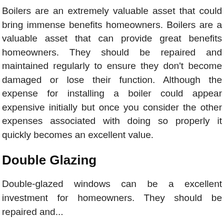Boilers are an extremely valuable asset that could bring immense benefits homeowners. Boilers are a valuable asset that can provide great benefits homeowners. They should be repaired and maintained regularly to ensure they don't become damaged or lose their function. Although the expense for installing a boiler could appear expensive initially but once you consider the other expenses associated with doing so properly it quickly becomes an excellent value.
Double Glazing
Double-glazed windows can be a excellent investment for homeowners. They should be repaired and...